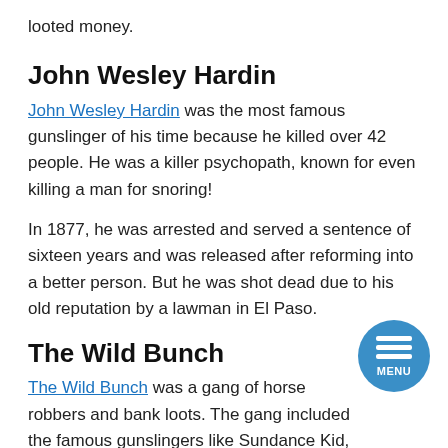looted money.
John Wesley Hardin
John Wesley Hardin was the most famous gunslinger of his time because he killed over 42 people. He was a killer psychopath, known for even killing a man for snoring!
In 1877, he was arrested and served a sentence of sixteen years and was released after reforming into a better person. But he was shot dead due to his old reputation by a lawman in El Paso.
The Wild Bunch
The Wild Bunch was a gang of horse robbers and bank loots. The gang included the famous gunslingers like Sundance Kid, Kid Curry, and Butch Cassidy. They were famous for a train robbery where